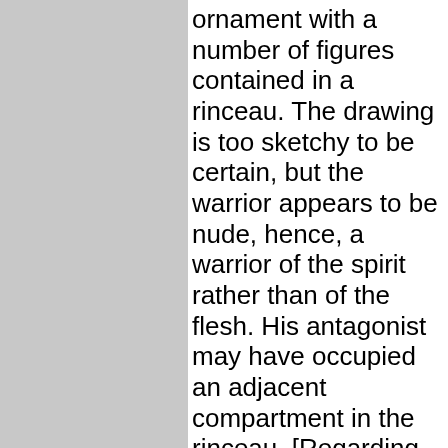[Figure (photo): Gray rectangular image placeholder occupying the left portion of the page]
ornament with a number of figures contained in a rinceau. The drawing is too sketchy to be certain, but the warrior appears to be nude, hence, a warrior of the spirit rather than of the flesh. His antagonist may have occupied an adjacent compartment in the rinceau. [Regarding textiles in this group, DL Carroll # 27-40 (CAS 0389-2378, -2380,